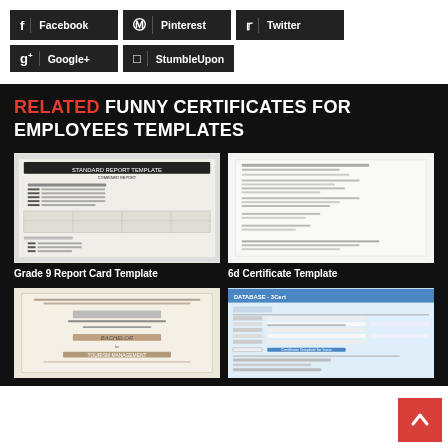[Figure (screenshot): Social sharing buttons: Facebook, Pinterest, Twitter, Google+, StumbleUpon]
RELATED FUNNY CERTIFICATES FOR EMPLOYEES TEMPLATES
[Figure (screenshot): Grade 9 Report Card Template thumbnail]
Grade 9 Report Card Template
[Figure (screenshot): 6d Certificate Template thumbnail]
6d Certificate Template
[Figure (screenshot): Bachelor of Tourism Management certificate thumbnail]
[Figure (screenshot): Software/application screenshot thumbnail]